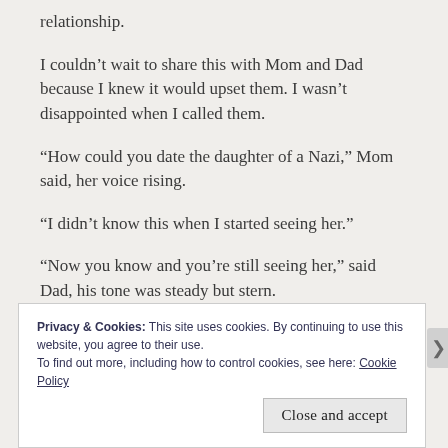relationship.
I couldn't wait to share this with Mom and Dad because I knew it would upset them. I wasn't disappointed when I called them.
“How could you date the daughter of a Nazi,” Mom said, her voice rising.
“I didn’t know this when I started seeing her.”
“Now you know and you’re still seeing her,” said Dad, his tone was steady but stern.
Privacy & Cookies: This site uses cookies. By continuing to use this website, you agree to their use.
To find out more, including how to control cookies, see here: Cookie Policy
Close and accept